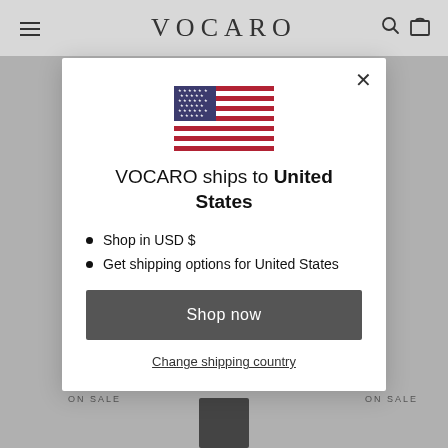VOCARO
[Figure (screenshot): US flag emoji / illustration shown in modal]
VOCARO ships to United States
Shop in USD $
Get shipping options for United States
Shop now
Change shipping country
ON SALE
ON SALE